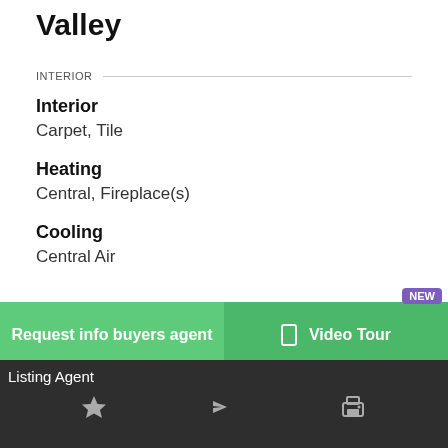Valley
INTERIOR
Interior
Carpet, Tile
Heating
Central, Fireplace(s)
Cooling
Central Air
Request info buyers agent
NEW
Video Tour
Listing Agent